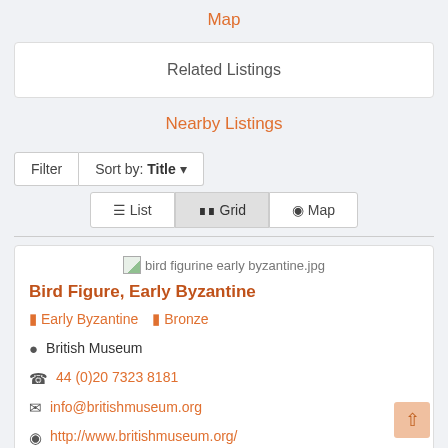Map
Related Listings
Nearby Listings
Filter  Sort by: Title
List  Grid  Map
[Figure (photo): Broken image placeholder labeled 'bird figurine early byzantine.jpg']
Bird Figure, Early Byzantine
Early Byzantine  Bronze
British Museum
44 (0)20 7323 8181
info@britishmuseum.org
http://www.britishmuseum.org/